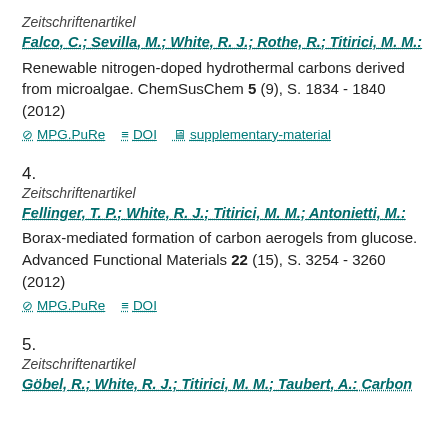Zeitschriftenartikel
Falco, C.; Sevilla, M.; White, R. J.; Rothe, R.; Titirici, M. M.:
Renewable nitrogen-doped hydrothermal carbons derived from microalgae. ChemSusChem 5 (9), S. 1834 - 1840 (2012)
MPG.PuRe   DOI   supplementary-material
4.
Zeitschriftenartikel
Fellinger, T. P.; White, R. J.; Titirici, M. M.; Antonietti, M.:
Borax-mediated formation of carbon aerogels from glucose. Advanced Functional Materials 22 (15), S. 3254 - 3260 (2012)
MPG.PuRe   DOI
5.
Zeitschriftenartikel
Göbel, R.; White, R. J.; Titirici, M. M.; Taubert, A.: Carbon